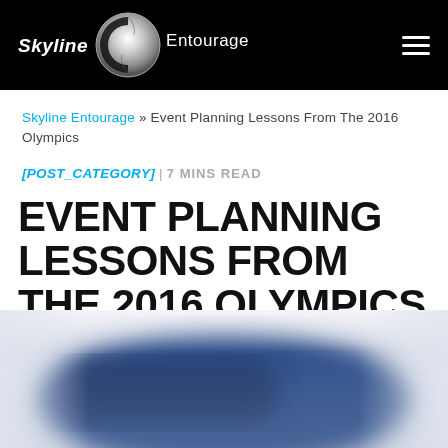Skyline Entourage [logo] [hamburger menu]
Skyline Entourage » Event Planning Lessons From The 2016 Olympics
[POST_CATEGORY] | 7 MINS READ
EVENT PLANNING LESSONS FROM THE 2016 OLYMPICS
[Figure (photo): Blurred blue background photo, possibly an Olympic or sports venue image]